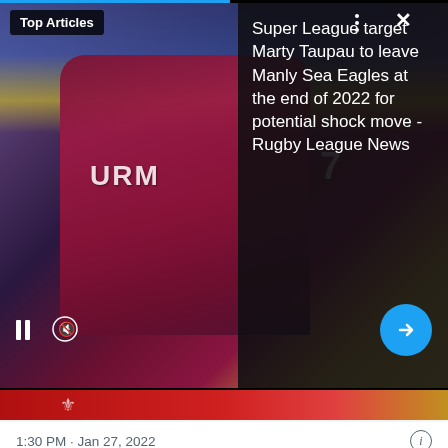[Figure (screenshot): Video thumbnail showing a rugby league player in a maroon Manly Sea Eagles jersey mid-game, with a stadium crowd in the background. Overlay shows 'Top Articles' label, pause/mute controls, a blue arrow button, and a dark right panel with article headline text.]
Top Articles
Super League target Marty Taupau to leave Manly Sea Eagles at the end of 2022 for potential shock move - Rugby League News
1:30 PM · Jan 27, 2022
124  Reply  Copy link to Tweet
Read 1 reply
Around The Web
[Figure (photo): Photo showing water bottles, close-up view with blue/silver tones against dark background.]